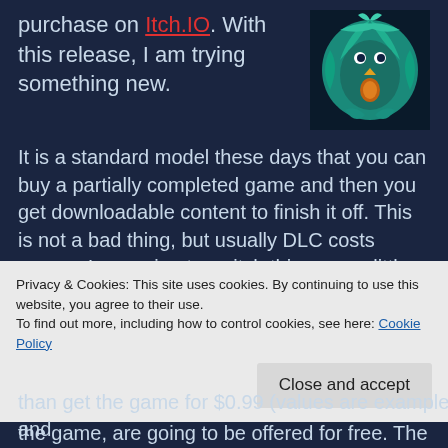purchase on Itch.IO. With this release, I am trying something new.
[Figure (illustration): Game artwork showing a fantasy bird/creature character with teal/blue feathers and orange accents]
It is a standard model these days that you can buy a partially completed game and then you get downloadable content to finish it off. This is not a bad thing, but usually DLC costs money. I am going to switch things up a little bit. An Orcish Kind of Hero is being sold for $0.99 and it currently contains 10 fully playable levels. Here is where things get interesting.
All updates for the game, for the entire life of the game, are going to be offered for free. The price of the game,
Privacy & Cookies: This site uses cookies. By continuing to use this website, you agree to their use.
To find out more, including how to control cookies, see here: Cookie Policy
Close and accept
than get the game for $0.99 (values are examples and